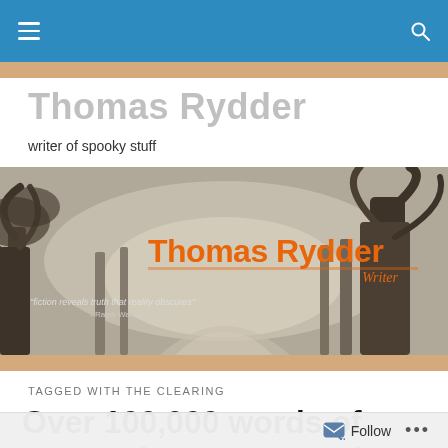Navigation bar with hamburger menu and search icon
Thomas Rydder
writer of spooky stuff
[Figure (photo): Banner image showing Thomas Rydder Writer logo in orange text over a sepia-toned misty forest path with large trees. Quote text reads: 'fiction reveals truth that reality obscures' - Ralph Waldo Emerson]
TAGGED WITH THE CLEARING
Over 100,000 words of werewolves, gore, and ghostly spine-tingling suspense…
Follow ...